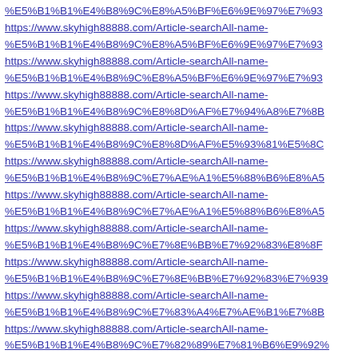%E5%B1%B1%E4%B8%9C%E8%A5%BF%E6%9E%97%E7%93... https://www.skyhigh88888.com/Article-searchAll-name-%E5%B1%B1%E4%B8%9C%E8%A5%BF%E6%9E%97%E7%93
https://www.skyhigh88888.com/Article-searchAll-name-%E5%B1%B1%E4%B8%9C%E8%A5%BF%E6%9E%97%E7%93
https://www.skyhigh88888.com/Article-searchAll-name-%E5%B1%B1%E4%B8%9C%E8%A5%BF%E6%9E%97%E7%93
https://www.skyhigh88888.com/Article-searchAll-name-%E5%B1%B1%E4%B8%9C%E8%8D%AF%E7%94%A8%E7%8B
https://www.skyhigh88888.com/Article-searchAll-name-%E5%B1%B1%E4%B8%9C%E8%8D%AF%E5%93%81%E5%8C
https://www.skyhigh88888.com/Article-searchAll-name-%E5%B1%B1%E4%B8%9C%E7%AE%A1%E5%88%B6%E8%A5
https://www.skyhigh88888.com/Article-searchAll-name-%E5%B1%B1%E4%B8%9C%E7%AE%A1%E5%88%B6%E8%A5
https://www.skyhigh88888.com/Article-searchAll-name-%E5%B1%B1%E4%B8%9C%E7%8E%BB%E7%92%83%E8%8F
https://www.skyhigh88888.com/Article-searchAll-name-%E5%B1%B1%E4%B8%9C%E7%8E%BB%E7%92%83%E7%93
https://www.skyhigh88888.com/Article-searchAll-name-%E5%B1%B1%E4%B8%9C%E7%83%A4%E7%AE%B1%E7%8B
https://www.skyhigh88888.com/Article-searchAll-name-%E5%B1%B1%E4%B8%9C%E7%82%89%E7%81%B6%E9%92%
https://www.skyhigh88888.com/Article-searchAll-name-%E5%B1%B1%E4%B8%9C%E7%82%89%E7%81%B6%E7%8E%
https://www.skyhigh88888.com/Article-searchAll-name-%E5%B1%B1%E4%B8%9C%E7%81%AF%E5%85%B7%E7%8F